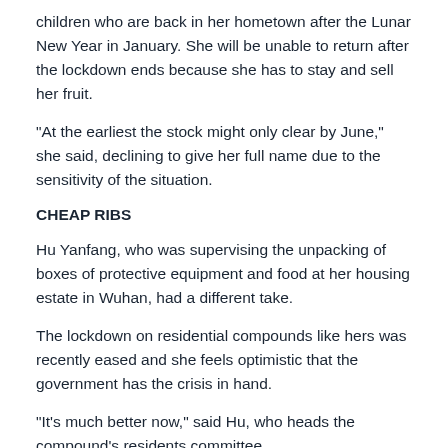children who are back in her hometown after the Lunar New Year in January. She will be unable to return after the lockdown ends because she has to stay and sell her fruit.
“At the earliest the stock might only clear by June,” she said, declining to give her full name due to the sensitivity of the situation.
CHEAP RIBS
Hu Yanfang, who was supervising the unpacking of boxes of protective equipment and food at her housing estate in Wuhan, had a different take.
The lockdown on residential compounds like hers was recently eased and she feels optimistic that the government has the crisis in hand.
“It’s much better now,” said Hu, who heads the compound’s residents committee.
Her voice cracked with emotion as she recounted how she had worked through the past two months to support her neighbours and sanitise the compound. She thanked the government for sending ample supplies of protective gear like masks.